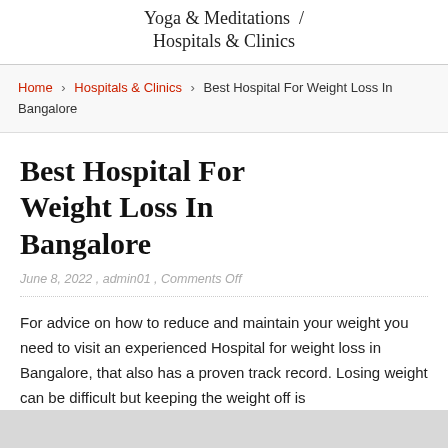Yoga & Meditations / Hospitals & Clinics
Home > Hospitals & Clinics > Best Hospital For Weight Loss In Bangalore
Best Hospital For Weight Loss In Bangalore
June 8, 2022 , admin01 , Comments Off
For advice on how to reduce and maintain your weight you need to visit an experienced Hospital for weight loss in Bangalore, that also has a proven track record. Losing weight can be difficult but keeping the weight off is